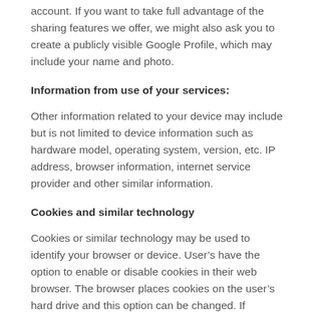account. If you want to take full advantage of the sharing features we offer, we might also ask you to create a publicly visible Google Profile, which may include your name and photo.
Information from use of your services:
Other information related to your device may include but is not limited to device information such as hardware model, operating system, version, etc. IP address, browser information, internet service provider and other similar information.
Cookies and similar technology
Cookies or similar technology may be used to identify your browser or device. User’s have the option to enable or disable cookies in their web browser. The browser places cookies on the user’s hard drive and this option can be changed. If cookies are disabled,